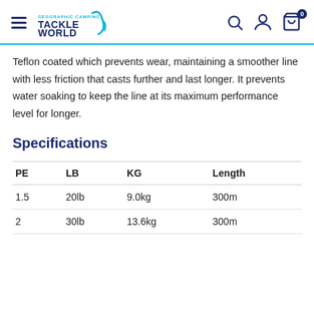Tackle World
Teflon coated which prevents wear, maintaining a smoother line with less friction that casts further and last longer. It prevents water soaking to keep the line at its maximum performance level for longer.
Specifications
| PE | LB | KG | Length |
| --- | --- | --- | --- |
| 1.5 | 20lb | 9.0kg | 300m |
| 2 | 30lb | 13.6kg | 300m |